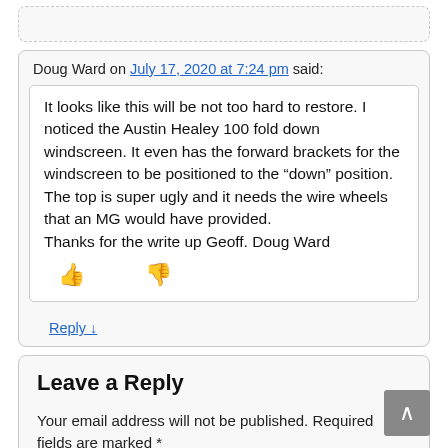Doug Ward on July 17, 2020 at 7:24 pm said:
It looks like this will be not too hard to restore. I noticed the Austin Healey 100 fold down windscreen. It even has the forward brackets for the windscreen to be positioned to the “down” position. The top is super ugly and it needs the wire wheels that an MG would have provided.
Thanks for the write up Geoff. Doug Ward
Reply ↓
Leave a Reply
Your email address will not be published. Required fields are marked *